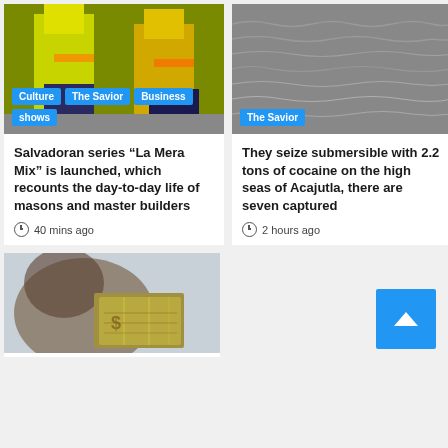[Figure (photo): Construction workers in yellow and orange safety vests]
Culture | The Savior | Business | shows
[Figure (photo): Gray ocean/sea surface viewed from above]
The Savior
Salvadoran series “La Mera Mix” is launched, which recounts the day-to-day life of masons and master builders
40 mins ago
They seize submersible with 2.2 tons of cocaine on the high seas of Acajutla, there are seven captured
2 hours ago
[Figure (photo): Person holding US dollar bills up to their face]